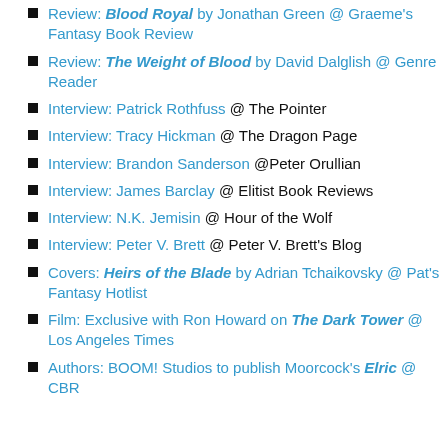Review: Blood Royal by Jonathan Green @ Graeme's Fantasy Book Review
Review: The Weight of Blood by David Dalglish @ Genre Reader
Interview: Patrick Rothfuss @ The Pointer
Interview: Tracy Hickman @ The Dragon Page
Interview: Brandon Sanderson @Peter Orullian
Interview: James Barclay @ Elitist Book Reviews
Interview: N.K. Jemisin @ Hour of the Wolf
Interview: Peter V. Brett @ Peter V. Brett's Blog
Covers: Heirs of the Blade by Adrian Tchaikovsky @ Pat's Fantasy Hotlist
Film: Exclusive with Ron Howard on The Dark Tower @ Los Angeles Times
Authors: BOOM! Studios to publish Moorcock's Elric @ CBR